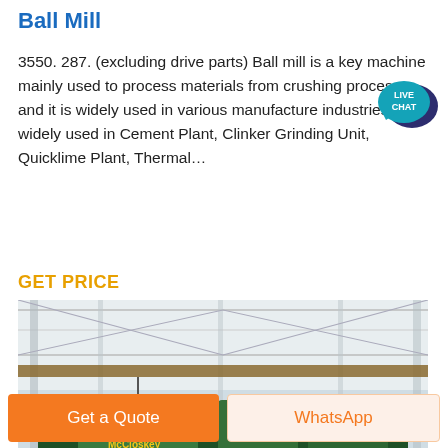Ball Mill
3550. 287. (excluding drive parts) Ball mill is a key machine mainly used to process materials from crushing process, and it is widely used in various manufacture industries. It is widely used in Cement Plant, Clinker Grinding Unit, Quicklime Plant, Thermal…
[Figure (infographic): Live Chat speech bubble badge in teal/dark blue colors with text LIVE CHAT]
GET PRICE
[Figure (photo): Large green industrial machinery (ball mill or crusher) inside a factory building with steel roof structure and bright lighting]
Get a Quote
WhatsApp